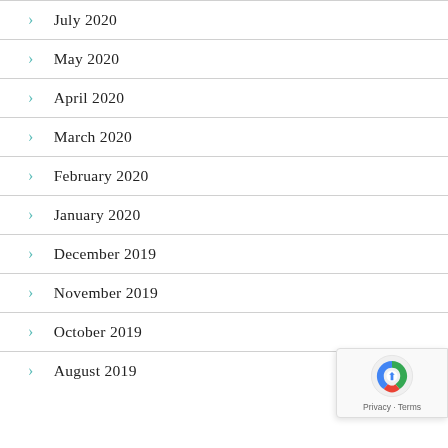July 2020
May 2020
April 2020
March 2020
February 2020
January 2020
December 2019
November 2019
October 2019
August 2019